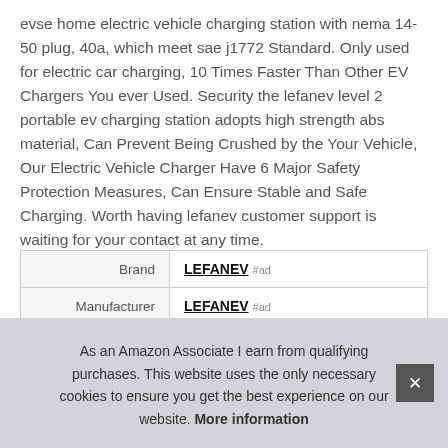evse home electric vehicle charging station with nema 14-50 plug, 40a, which meet sae j1772 Standard. Only used for electric car charging, 10 Times Faster Than Other EV Chargers You ever Used. Security the lefanev level 2 portable ev charging station adopts high strength abs material, Can Prevent Being Crushed by the Your Vehicle, Our Electric Vehicle Charger Have 6 Major Safety Protection Measures, Can Ensure Stable and Safe Charging. Worth having lefanev customer support is waiting for your contact at any time.
|  |  |
| --- | --- |
| Brand | LEFANEV #ad |
| Manufacturer | LEFANEV #ad |
|  |  |
|  |  |
As an Amazon Associate I earn from qualifying purchases. This website uses the only necessary cookies to ensure you get the best experience on our website. More information